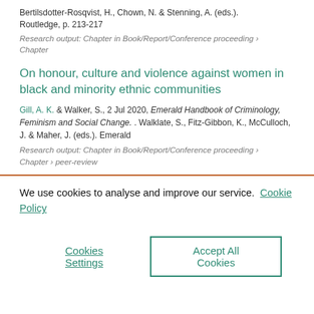Bertilsdotter-Rosqvist, H., Chown, N. & Stenning, A. (eds.). Routledge, p. 213-217
Research output: Chapter in Book/Report/Conference proceeding › Chapter
On honour, culture and violence against women in black and minority ethnic communities
Gill, A. K. & Walker, S., 2 Jul 2020, Emerald Handbook of Criminology, Feminism and Social Change. . Walklate, S., Fitz-Gibbon, K., McCulloch, J. & Maher, J. (eds.). Emerald
Research output: Chapter in Book/Report/Conference proceeding › Chapter › peer-review
We use cookies to analyse and improve our service. Cookie Policy
Cookies Settings
Accept All Cookies